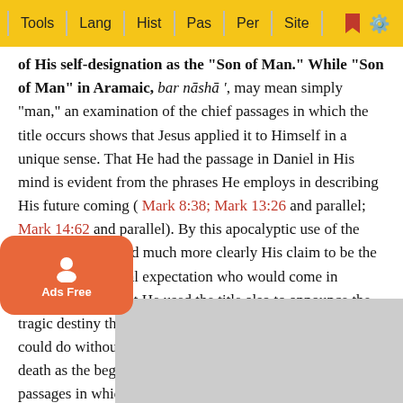Tools | Lang | Hist | Pas | Per | Site
of His self-designation as the "Son of Man." While "Son of Man" in Aramaic, bar nāshā', may mean simply "man," an examination of the chief passages in which the title occurs shows that Jesus applied it to Himself in a unique sense. That He had the passage in Daniel in His mind is evident from the phrases He employs in describing His future coming ( Mark 8:38; Mark 13:26 and parallel; Mark 14:62 and parallel). By this apocalyptic use of the title He put forward much more clearly His claim to be the Messiah of national expectation who would come in heavenly glory. But He used the title also to announce the tragic destiny that awaited Him ( Mark 8:31 ). This He could do without any contradiction, as He regarded His death as the beginning of His Messianic reign. And those passages in which He refers to the Son of Man giving His life ransom "for many" (Matthew 20:28 and parallel) and going as it is written of him" ( Matthew 26:24 and parallel), as well as Isaiah 53:1- ...eath He wo... the